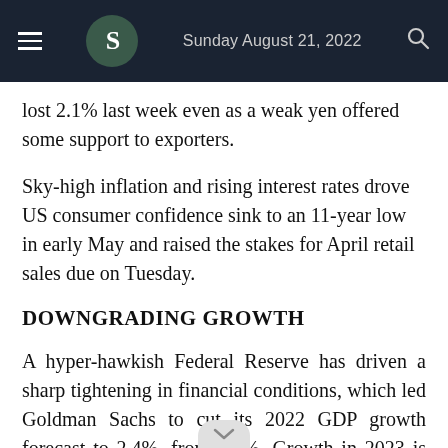Sunday August 21, 2022
lost 2.1% last week even as a weak yen offered some support to exporters.
Sky-high inflation and rising interest rates drove US consumer confidence sink to an 11-year low in early May and raised the stakes for April retail sales due on Tuesday.
DOWNGRADING GROWTH
A hyper-hawkish Federal Reserve has driven a sharp tightening in financial conditions, which led Goldman Sachs to cut its 2022 GDP growth forecast to 2.4%, from 2.6%. Growth in 2023 is now seen at 1.6% on an annual ba... n from 2.2%